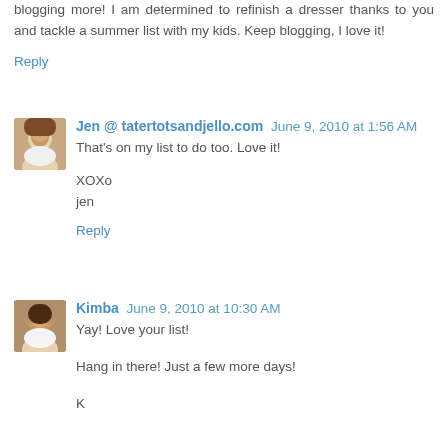blogging more! I am determined to refinish a dresser thanks to you and tackle a summer list with my kids. Keep blogging, I love it!
Reply
Jen @ tatertotsandjello.com  June 9, 2010 at 1:56 AM
That's on my list to do too. Love it!

XOXo
jen
Reply
Kimba  June 9, 2010 at 10:30 AM
Yay! Love your list!

Hang in there! Just a few more days!

K